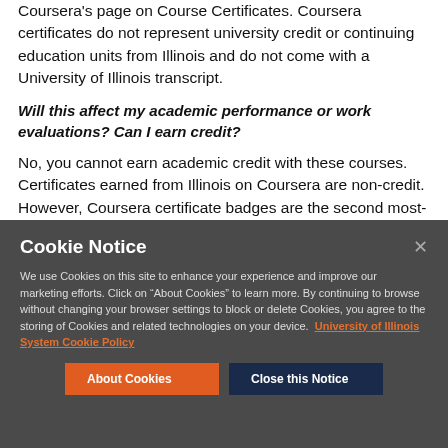Coursera's page on Course Certificates. Coursera certificates do not represent university credit or continuing education units from Illinois and do not come with a University of Illinois transcript.
Will this affect my academic performance or work evaluations? Can I earn credit?
No, you cannot earn academic credit with these courses. Certificates earned from Illinois on Coursera are non-credit. However, Coursera certificate badges are the second most-
[Figure (screenshot): Cookie Notice modal overlay with dark gray background. Title: 'Cookie Notice'. Body text: 'We use Cookies on this site to enhance your experience and improve our marketing efforts. Click on "About Cookies" to learn more. By continuing to browse without changing your browser settings to block or delete Cookies, you agree to the storing of Cookies and related technologies on your device.' Link: 'University of Illinois System Cookie Policy'. Two buttons: 'About Cookies' (orange) and 'Close this Notice' (dark navy).]